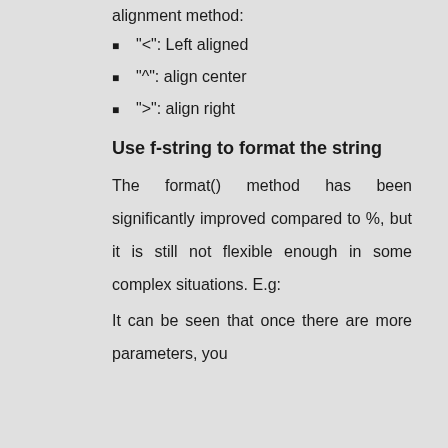alignment method:
"<": Left aligned
"^": align center
">":  align right
Use f-string to format the string
The format() method has been significantly improved compared to %, but it is still not flexible enough in some complex situations. E.g:
It can be seen that once there are more parameters, you